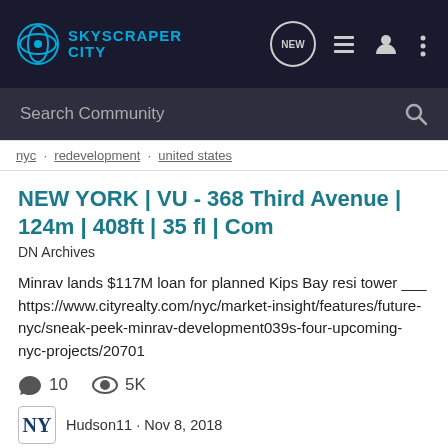[Figure (logo): SkyscraperCity logo with navigation icons on dark background]
Search Community
nyc · redevelopment · united states
NEW YORK | VU - 368 Third Avenue | 124m | 408ft | 35 fl | Com
DN Archives
Minrav lands $117M loan for planned Kips Bay resi tower ___ https://www.cityrealty.com/nyc/market-insight/features/future-nyc/sneak-peek-minrav-development039s-four-upcoming-nyc-projects/20701
10 · 5K
Hudson11 · Nov 8, 2018
highrise
manhattan
midtown
new york
new york city
nyc
redevelopment
residential
united states